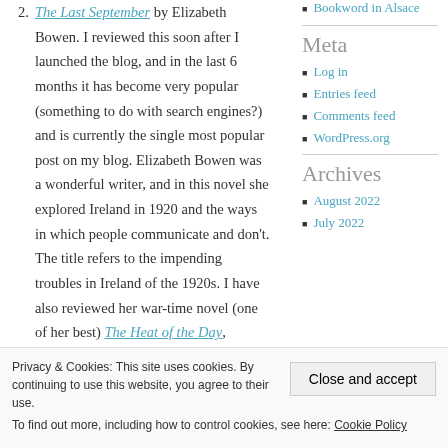2. The Last September by Elizabeth Bowen. I reviewed this soon after I launched the blog, and in the last 6 months it has become very popular (something to do with search engines?) and is currently the single most popular post on my blog. Elizabeth Bowen was a wonderful writer, and in this novel she explored Ireland in 1920 and the ways in which people communicate and don't. The title refers to the impending troubles in Ireland of the 1920s. I have also reviewed her war-time novel (one of her best) The Heat of the Day, chillingly observant about
• (bullet item continues)
Bookword in Alsace
Meta
Log in
Entries feed
Comments feed
WordPress.org
Archives
August 2022
July 2022
Privacy & Cookies: This site uses cookies. By continuing to use this website, you agree to their use. To find out more, including how to control cookies, see here: Cookie Policy
Close and accept